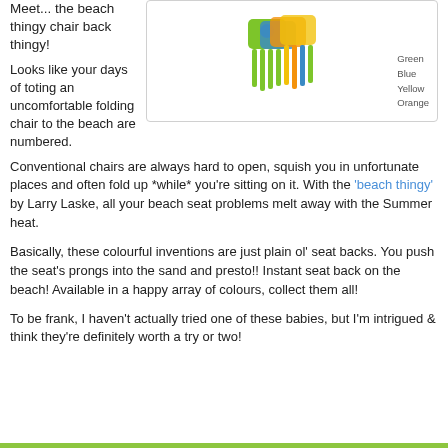Meet... the beach thingy chair back thingy!
[Figure (photo): Colorful beach seat back chairs with prongs, shown in green, blue, yellow, and orange variants, with a color legend listing Green, Blue, Yellow, Orange]
Looks like your days of toting an uncomfortable folding chair to the beach are numbered.
Conventional chairs are always hard to open, squish you in unfortunate places and often fold up *while* you're sitting on it. With the 'beach thingy' by Larry Laske, all your beach seat problems melt away with the Summer heat.
Basically, these colourful inventions are just plain ol' seat backs. You push the seat's prongs into the sand and presto!! Instant seat back on the beach! Available in a happy array of colours, collect them all!
To be frank, I haven't actually tried one of these babies, but I'm intrigued & think they're definitely worth a try or two!